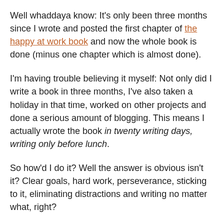Well whaddaya know: It's only been three months since I wrote and posted the first chapter of the happy at work book and now the whole book is done (minus one chapter which is almost done).
I'm having trouble believing it myself: Not only did I write a book in three months, I've also taken a holiday in that time, worked on other projects and done a serious amount of blogging. This means I actually wrote the book in twenty writing days, writing only before lunch.
So how'd I do it? Well the answer is obvious isn't it? Clear goals, hard work, perseverance, sticking to it, eliminating distractions and writing no matter what, right?
Wrong.
Wrong, wrong, wrong. I tried that. Didn't work. So I tried the exact opposite and that worked.